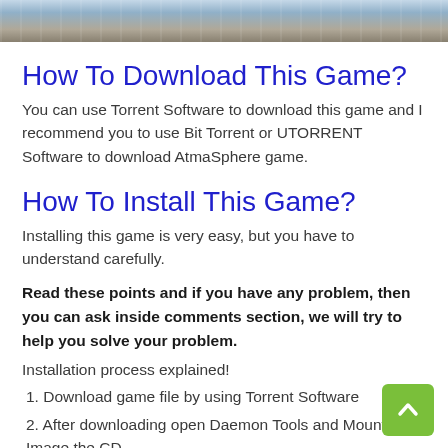[Figure (photo): Partial top image showing a game scene with sky and landscape]
How To Download This Game?
You can use Torrent Software to download this game and I recommend you to use Bit Torrent or UTORRENT Software to download AtmaSphere game.
How To Install This Game?
Installing this game is very easy, but you have to understand carefully.
Read these points and if you have any problem, then you can ask inside comments section, we will try to help you solve your problem.
Installation process explained!
1. Download game file by using Torrent Software
2. After downloading open Daemon Tools and Mount Image the CD